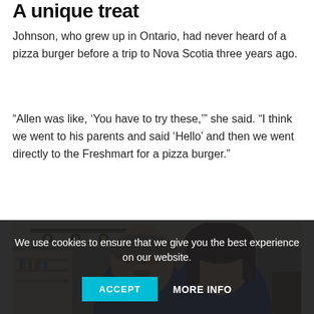A unique treat
Johnson, who grew up in Ontario, had never heard of a pizza burger before a trip to Nova Scotia three years ago.
“Allen was like, ‘You have to try these,’” she said. “I think we went to his parents and said ‘Hello’ and then we went directly to the Freshmart for a pizza burger.”
[Figure (photo): A couple posing together in a room with track lighting and a bar area visible in the background. A man and woman are shown smiling.]
We use cookies to ensure that we give you the best experience on our website.
ACCEPT   MORE INFO